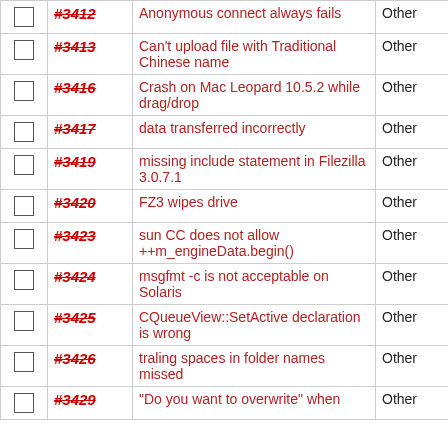|  | ID | Description | Type |  |
| --- | --- | --- | --- | --- |
|  | #3412 | Anonymous connect always fails | Other |  |
|  | #3413 | Can't upload file with Traditional Chinese name | Other |  |
|  | #3416 | Crash on Mac Leopard 10.5.2 while drag/drop | Other |  |
|  | #3417 | data transferred incorrectly | Other |  |
|  | #3419 | missing include statement in Filezilla 3.0.7.1 | Other |  |
|  | #3420 | FZ3 wipes drive | Other |  |
|  | #3423 | sun CC does not allow ++m_engineData.begin() | Other |  |
|  | #3424 | msgfmt -c is not acceptable on Solaris | Other |  |
|  | #3425 | CQueueView::SetActive declaration is wrong | Other |  |
|  | #3426 | traling spaces in folder names missed | Other |  |
|  | #3429 | "Do you want to overwrite" when | Other |  |